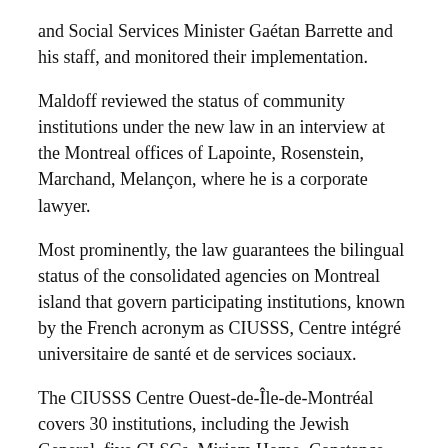and Social Services Minister Gaétan Barrette and his staff, and monitored their implementation.
Maldoff reviewed the status of community institutions under the new law in an interview at the Montreal offices of Lapointe, Rosenstein, Marchand, Melançon, where he is a corporate lawyer.
Most prominently, the law guarantees the bilingual status of the consolidated agencies on Montreal island that govern participating institutions, known by the French acronym as CIUSSS, Centre intégré universitaire de santé et de services sociaux.
The CIUSSS Centre Ouest-de-Île-de-Montréal covers 30 institutions, including the Jewish General, five CLSCs, Miriam Home, Constance-Lethbridge Rehabilitation Centre, Maimonides Geriatric Centre, MAB-Mackay Rehabilitation Centre, Richardson Hospital, Jewish Elders, Mount Sinai Hospital,